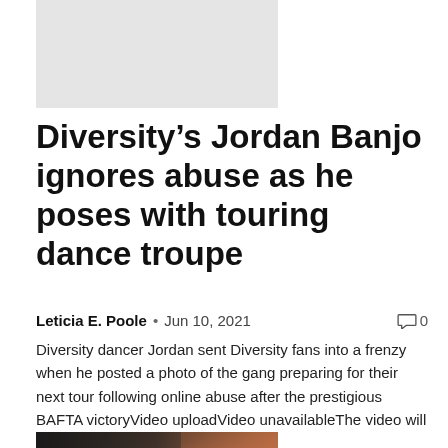[Figure (photo): Gray placeholder image at top of article]
Diversity’s Jordan Banjo ignores abuse as he poses with touring dance troupe
Leticia E. Poole • Jun 10, 2021 💬 0
Diversity dancer Jordan sent Diversity fans into a frenzy when he posted a photo of the gang preparing for their next tour following online abuse after the prestigious BAFTA victoryVideo uploadVideo unavailableThe video will play…
[Figure (photo): Photo of dancers posing, woman with red hair in white top and black shorts, man in dark clothing]